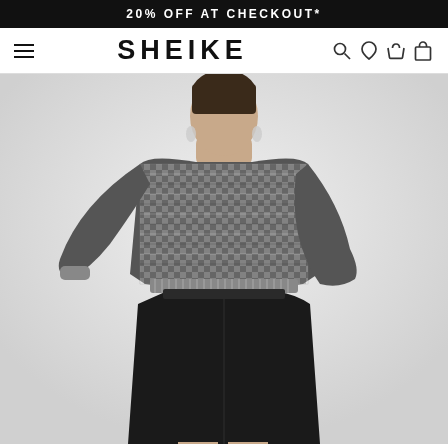20% OFF AT CHECKOUT*
SHEIKE
[Figure (photo): Fashion model wearing a black and white checker/textured cropped knit sweater and a black leather mini skirt, posed against a light grey background. Model has dark hair pulled back.]